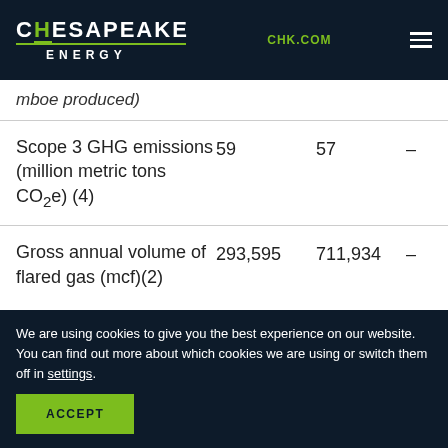CHESAPEAKE ENERGY | CHK.COM
|  |  |  |  |
| --- | --- | --- | --- |
| mboe produced) |  |  |  |
| Scope 3 GHG emissions (million metric tons CO2e) (4) | 59 | 57 | – |
| Gross annual volume of flared gas (mcf)(2) | 293,595 | 711,934 | – |
We are using cookies to give you the best experience on our website.
You can find out more about which cookies we are using or switch them off in settings.
ACCEPT